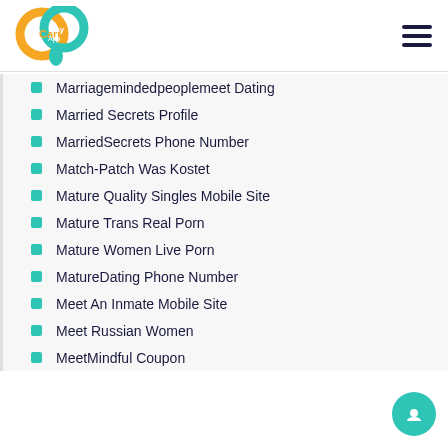[Figure (logo): Carib Pay App logo — overlapping orange and teal circular shapes with 'Carib Pay App' text]
Marriagemindedpeoplemeet Dating
Married Secrets Profile
MarriedSecrets Phone Number
Match-Patch Was Kostet
Mature Quality Singles Mobile Site
Mature Trans Real Porn
Mature Women Live Porn
MatureDating Phone Number
Meet An Inmate Mobile Site
Meet Russian Women
MeetMindful Coupon